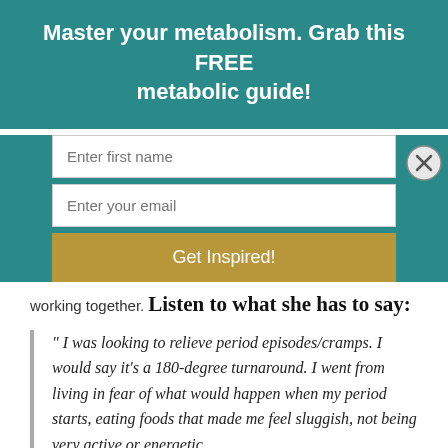Master your metabolism. Grab this FREE metabolic guide!
Enter first name
Enter your email
Get Inspired!
working together.
Listen to what she has to say:
" I was looking to relieve period episodes/cramps. I would say it's a 180-degree turnaround. I went from living in fear of what would happen when my period starts, eating foods that made me feel sluggish, not being very active or energetic